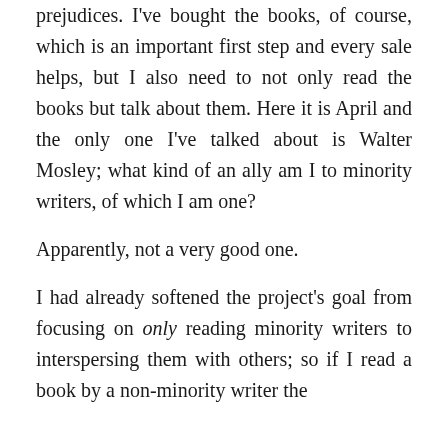prejudices. I've bought the books, of course, which is an important first step and every sale helps, but I also need to not only read the books but talk about them. Here it is April and the only one I've talked about is Walter Mosley; what kind of an ally am I to minority writers, of which I am one?
Apparently, not a very good one.
I had already softened the project's goal from focusing on only reading minority writers to interspersing them with others; so if I read a book by a non-minority writer the